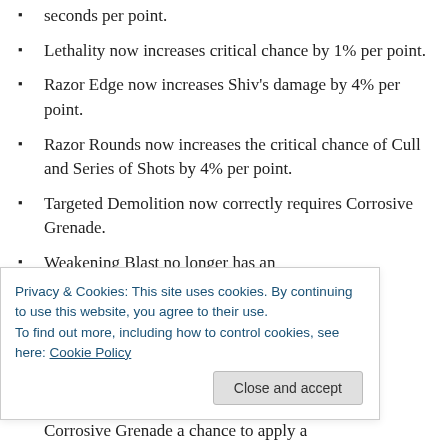seconds per point.
Lethality now increases critical chance by 1% per point.
Razor Edge now increases Shiv's damage by 4% per point.
Razor Rounds now increases the critical chance of Cull and Series of Shots by 4% per point.
Targeted Demolition now correctly requires Corrosive Grenade.
Weakening Blast no longer has an
Privacy & Cookies: This site uses cookies. By continuing to use this website, you agree to their use.
To find out more, including how to control cookies, see here: Cookie Policy
Corrosive Grenade a chance to apply a